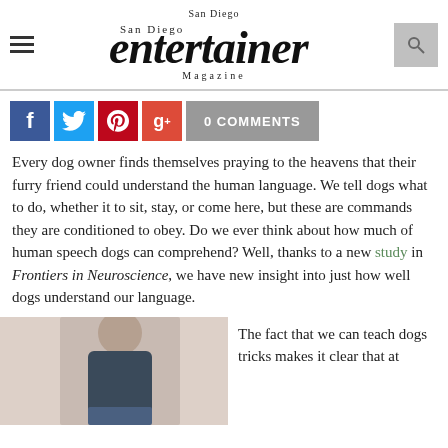San Diego Entertainer Magazine
[Figure (infographic): Social media share buttons: Facebook (blue), Twitter (light blue), Pinterest (red), Google+ (red-orange), and a grey '0 COMMENTS' button]
Every dog owner finds themselves praying to the heavens that their furry friend could understand the human language. We tell dogs what to do, whether it to sit, stay, or come here, but these are commands they are conditioned to obey. Do we ever think about how much of human speech dogs can comprehend? Well, thanks to a new study in Frontiers in Neuroscience, we have new insight into just how well dogs understand our language.
[Figure (photo): A man in a dark navy t-shirt, partially visible from the waist up]
The fact that we can teach dogs tricks makes it clear that at